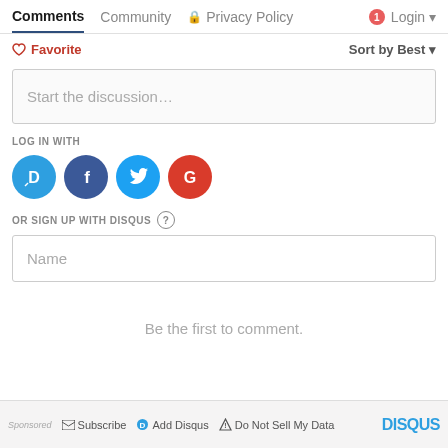Comments  Community  Privacy Policy  Login
Favorite  Sort by Best
Start the discussion...
LOG IN WITH
[Figure (illustration): Four social login icons: Disqus (blue), Facebook (dark blue), Twitter (light blue), Google (red)]
OR SIGN UP WITH DISQUS ?
Name
Be the first to comment.
Sponsored  Subscribe  Add Disqus  Do Not Sell My Data  DISQUS